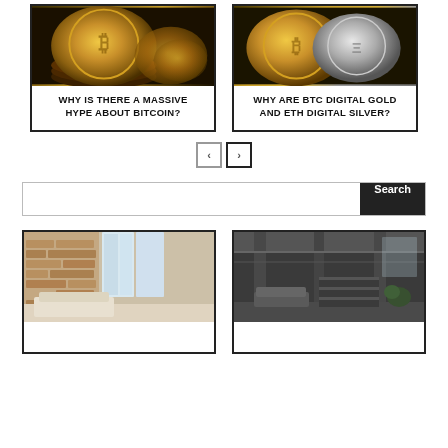[Figure (photo): Bitcoin gold coins stacked, close-up photo]
WHY IS THERE A MASSIVE HYPE ABOUT BITCOIN?
[Figure (photo): Bitcoin gold and silver coins, close-up photo]
WHY ARE BTC DIGITAL GOLD AND ETH DIGITAL SILVER?
[Figure (screenshot): Navigation previous and next arrow buttons]
[Figure (screenshot): Search bar with Search button]
[Figure (photo): Modern loft interior with brick walls and large windows]
[Figure (photo): Industrial interior with concrete ceiling and bookshelves]